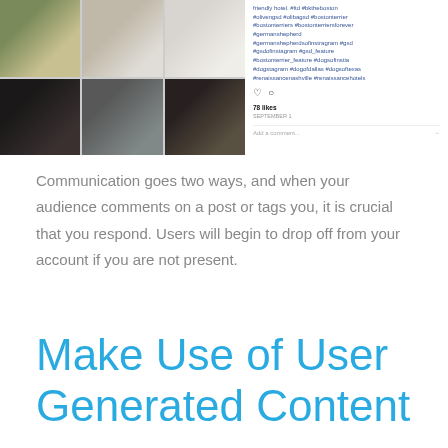[Figure (screenshot): Instagram post screenshot showing a photo grid of dogs (Boston Terrier, German Shepherd, Chihuahua mixes) in hotel rooms, with hashtags, 78 likes, and a comment input field on the right side.]
Communication goes two ways, and when your audience comments on a post or tags you, it is crucial that you respond. Users will begin to drop off from your account if you are not present.
Make Use of User Generated Content